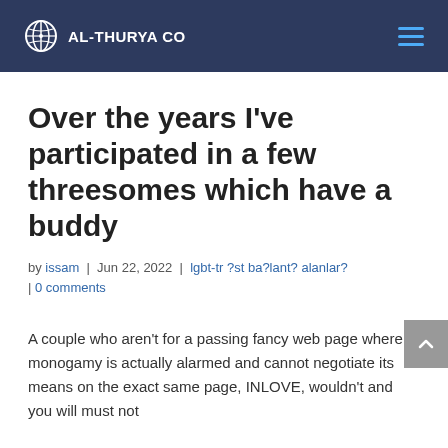AL-THURYA CO
Over the years I've participated in a few threesomes which have a buddy
by issam | Jun 22, 2022 | lgbt-tr ?st ba?lant? alanlar? | 0 comments
A couple who aren't for a passing fancy web page where monogamy is actually alarmed and cannot negotiate its means on the exact same page, INLOVE, wouldn't and you will must not